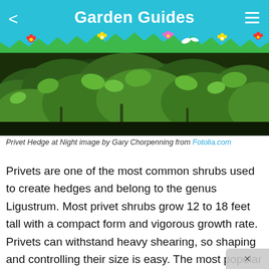Garden Guides
[Figure (photo): Dense green privet hedge photographed at night, showing layered leafy branches]
Privet Hedge at Night image by Gary Chorpenning from Fotolia.com
Privets are one of the most common shrubs used to create hedges and belong to the genus Ligustrum. Most privet shrubs grow 12 to 18 feet tall with a compact form and vigorous growth rate. Privets can withstand heavy shearing, so shaping and controlling their size is easy. The most popular types include the Amur privet (Ligustrum amurense), Japanese privet (L. japonicum), glossy privet (L. lucidum), California privet (L. ovalifolium) and Regal privet (L. obtusifolium var.